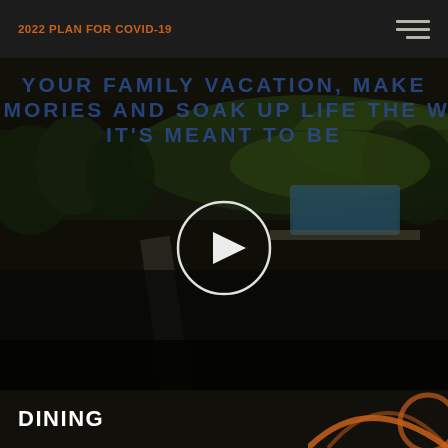2022 PLAN FOR COVID-19
[Figure (photo): Aerial view of a resort/hotel property showing green grounds, a swimming pool, and a play button overlay indicating a video player. Text overlay reads: YOUR FAMILY VACATION, MAKE MEMORIES AND SOAK UP LIFE THE WAY IT'S MEANT TO BE]
YOUR FAMILY VACATION, MAKE MEMORIES AND SOAK UP LIFE THE WAY IT'S MEANT TO BE
DINING